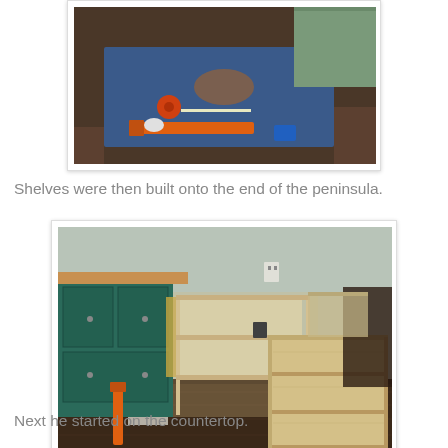[Figure (photo): Construction tools and supplies laid out on a blue tarp on a wooden floor near kitchen cabinets]
Shelves were then built onto the end of the peninsula.
[Figure (photo): Unfinished wooden shelves built onto the end of a kitchen peninsula, with teal green cabinets visible on the left and dark hardwood floors]
Next he started on the countertop.